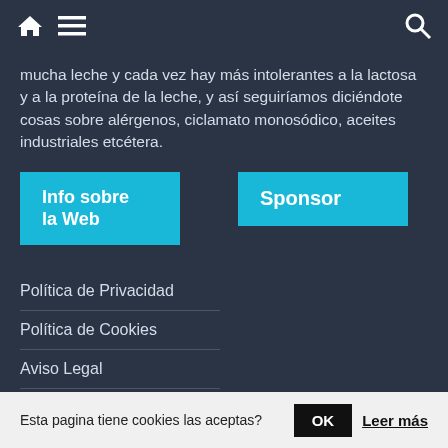Home | Menu | Search navigation bar
mucha leche y cada vez hay más intolerantes a la lactosa y a la proteína de la leche, y así seguiríamos diciéndote cosas sobre alérgenos, ciclamato monosódico, aceites industriales etcétera.
Info sobre la Web
Sponsor
Política de Privacidad
Política de Cookies
Aviso Legal
Nosotros
Esta pagina tiene cookies las aceptas?  OK  Leer más